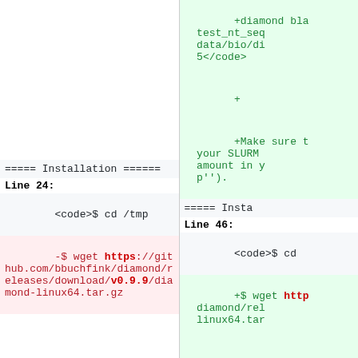+diamond bla test_nt_seq data/bio/di 5</code>
+
+Make sure t your SLURM amount in y p'').
===== Installation ======
===== Insta
Line 24:
Line 46:
<code>$ cd /tmp
-$ wget https://github.com/bbuchfink/diamond/releases/download/v0.9.9/diamond-linux64.tar.gz
<code>$ cd
+$ wget http diamond/rel linux64.tar
+$ sudo mkdi 2.0.14/bin